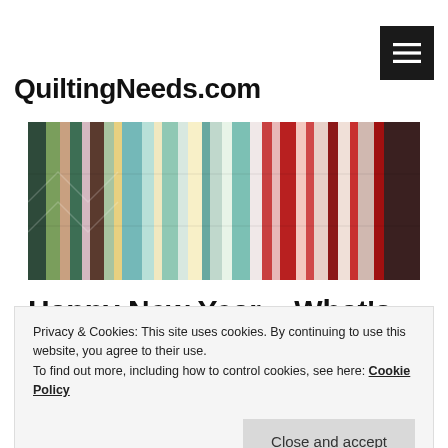QuiltingNeeds.com
[Figure (photo): Rows of colorful quilting fabrics stacked on shelves, showing many patterns and colors including teal, red, green, and floral prints.]
Happy New Year – What's going on?
Privacy & Cookies: This site uses cookies. By continuing to use this website, you agree to their use.
To find out more, including how to control cookies, see here: Cookie Policy
Close and accept
but all the same that is what I did last night. Of